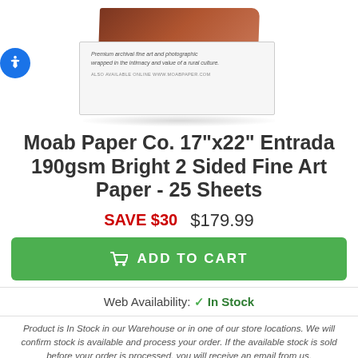[Figure (photo): Photo of a Moab Paper Co. product box with dark reddish-brown top and white front panel showing italic text about premium archival fine art paper.]
Moab Paper Co. 17"x22" Entrada 190gsm Bright 2 Sided Fine Art Paper - 25 Sheets
SAVE $30  $179.99
ADD TO CART
Web Availability: ✔ In Stock
Product is In Stock in our Warehouse or in one of our store locations. We will confirm stock is available and process your order. If the available stock is sold before your order is processed, you will receive an email from us.